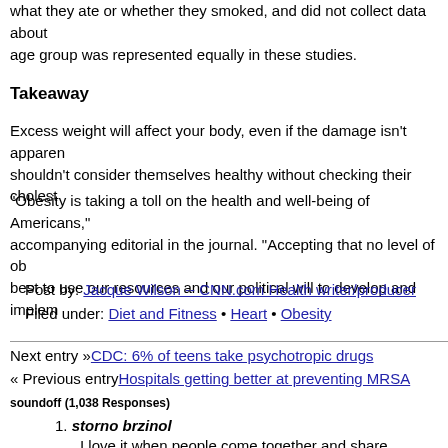what they ate or whether they smoked, and did not collect data about age group was represented equally in these studies.
Takeaway
Excess weight will affect your body, even if the damage isn't apparent. shouldn't consider themselves healthy without checking their cholest
"Obesity is taking a toll on the health and well-being of Americans," accompanying editorial in the journal. "Accepting that no level of ob best to use our resources and our political will to develop and implem
Post by: Jacque Wilson -- CNN.com Health writer/producer
Filed under: Diet and Fitness • Heart • Obesity
Next entry »CDC: 6% of teens take psychotropic drugs
« Previous entryHospitals getting better at preventing MRSA
soundoff (1,038 Responses)
storno brzinol
I love it when people come together and share opinions, great b